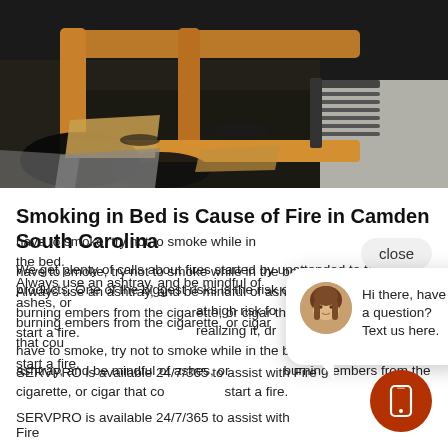[Figure (photo): Photograph of a burned/charred bed with wooden frame, showing fire damage with black scorched fabric and debris]
Smoking in Bed is Cause of Fire in Camden South Carolina
We get plenty of calls about fires started by unattended tobacco products. One of the biggest risks is the risk of smoking in bed. In particular, those at high risk for falling asleep while smoking, or not realizing it, drop a cigarette. So if you absolutely have to smoke, try not to smoke while in the bed. Always use an ashtray, and be mindful of ashes, or burning embers from the cigarette, or cigar that could start a fire.
SERVPRO is available 24/7/365 to assist with Fire